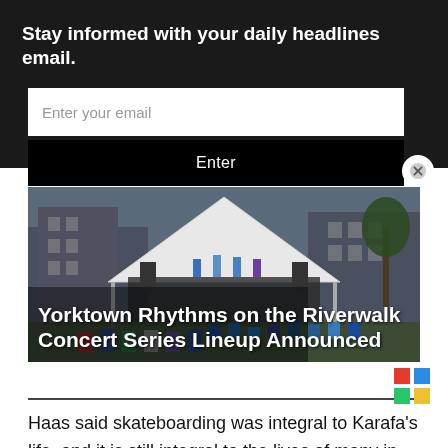Stay informed with your daily headlines email.
Enter your email
Enter
[Figure (photo): Outdoor concert event with white tent canopy, stage, performers, and audience seated in chairs on a lawn with historic-style buildings in the background at Yorktown.]
Yorktown Rhythms on the Riverwalk Concert Series Lineup Announced
Haas said skateboarding was integral to Karafa's life, and it is still integral to the lives of many in